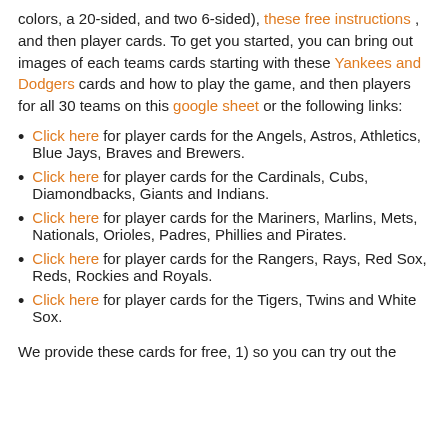colors, a 20-sided, and two 6-sided), these free instructions , and then player cards. To get you started, you can bring out images of each teams cards starting with these Yankees and Dodgers cards and how to play the game, and then players for all 30 teams on this google sheet or the following links:
Click here for player cards for the Angels, Astros, Athletics, Blue Jays, Braves and Brewers.
Click here for player cards for the Cardinals, Cubs, Diamondbacks, Giants and Indians.
Click here for player cards for the Mariners, Marlins, Mets, Nationals, Orioles, Padres, Phillies and Pirates.
Click here for player cards for the Rangers, Rays, Red Sox, Reds, Rockies and Royals.
Click here for player cards for the Tigers, Twins and White Sox.
We provide these cards for free, 1) so you can try out the